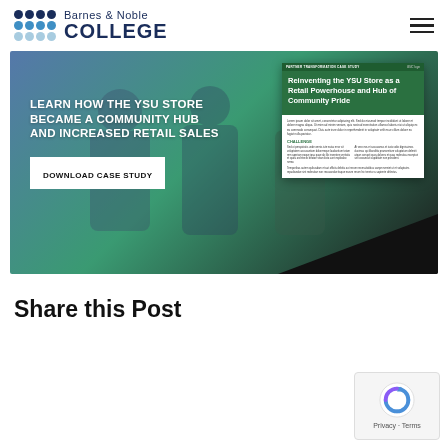Barnes & Noble COLLEGE
[Figure (screenshot): Promotional banner for Barnes & Noble College case study about the YSU Store becoming a community hub and increasing retail sales. Left side shows text: 'LEARN HOW THE YSU STORE BECAME A COMMUNITY HUB AND INCREASED RETAIL SALES' with a 'DOWNLOAD CASE STUDY' button. Right side shows a preview of the case study document titled 'Reinventing the YSU Store as a Retail Powerhouse and Hub of Community Pride'.]
Share this Post